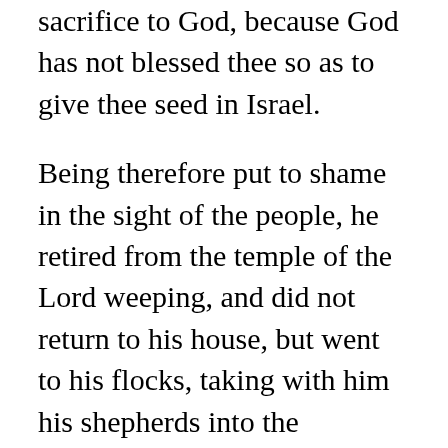sacrifice to God, because God has not blessed thee so as to give thee seed in Israel.
Being therefore put to shame in the sight of the people, he retired from the temple of the Lord weeping, and did not return to his house, but went to his flocks, taking with him his shepherds into the mountains to a far country, so that for five months his wife Anna could hear no tidings of him. And she prayed with tears, saying: O Lord, most mighty God of Israel, why hast Thou, seeing that already Thou hast not given me children, taken from me my husband? And behold